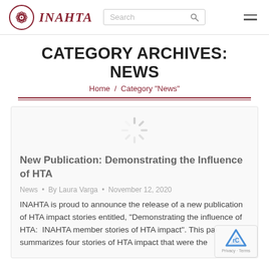INAHTA — Search bar — Navigation menu
CATEGORY ARCHIVES: NEWS
Home / Category "News"
[Figure (logo): Loading spinner / activity indicator graphic centered in article card image area]
New Publication: Demonstrating the Influence of HTA
News • By Laura Varga • November 12, 2020
INAHTA is proud to announce the release of a new publication of HTA impact stories entitled, "Demonstrating the influence of HTA:  INAHTA member stories of HTA impact". This paper summarizes four stories of HTA impact that were the